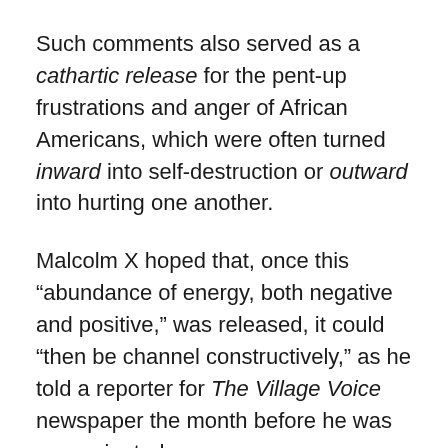Such comments also served as a cathartic release for the pent-up frustrations and anger of African Americans, which were often turned inward into self-destruction or outward into hurting one another.
Malcolm X hoped that, once this “abundance of energy, both negative and positive,” was released, it could “then be channel constructively,” as he told a reporter for The Village Voice newspaper the month before he was assassinated.
“‘The greatest mistake of the Movement,’” he